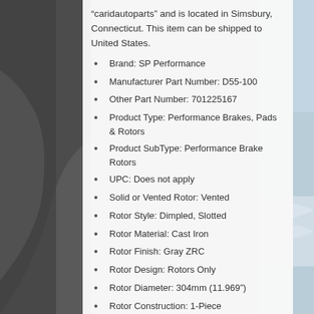[Figure (photo): Background photo of rocky sea cliffs on the left and ocean waves on the right with a muted blue-gray palette]
“caridautoparts” and is located in Simsbury, Connecticut. This item can be shipped to United States.
Brand: SP Performance
Manufacturer Part Number: D55-100
Other Part Number: 701225167
Product Type: Performance Brakes, Pads & Rotors
Product SubType: Performance Brake Rotors
UPC: Does not apply
Solid or Vented Rotor: Vented
Rotor Style: Dimpled, Slotted
Rotor Material: Cast Iron
Rotor Finish: Gray ZRC
Rotor Design: Rotors Only
Rotor Diameter: 304mm (11.969”)
Rotor Construction: 1-Piece